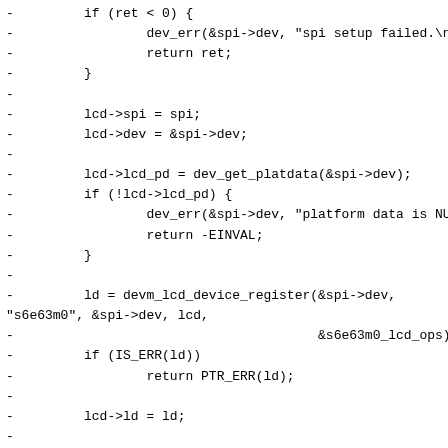[Figure (other): Source code diff snippet showing C code for LCD/SPI driver, with lines prefixed by '-' indicating removed lines. Contains error handling, variable assignments, and function calls including dev_err, return, devm_lcd_device_register, memset, and devm_backlight_device_register.]